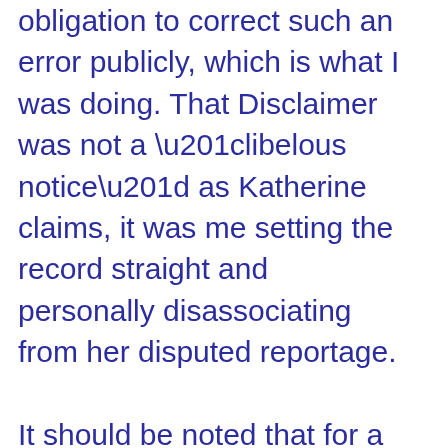obligation to correct such an error publicly, which is what I was doing. That Disclaimer was not a “libelous notice” as Katherine claims, it was me setting the record straight and personally disassociating from her disputed reportage.

It should be noted that for a long time Melanie has held a different opinion of Katherine Horton than I